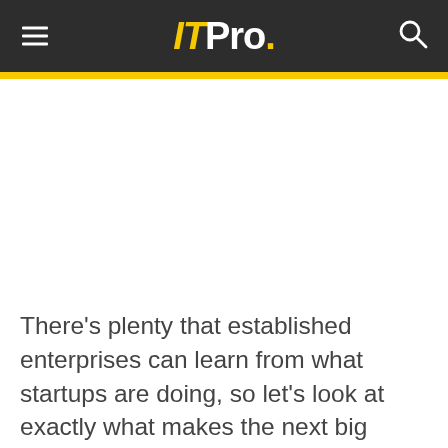ITPro.
There's plenty that established enterprises can learn from what startups are doing, so let's look at exactly what makes the next big thing' the next big thing.